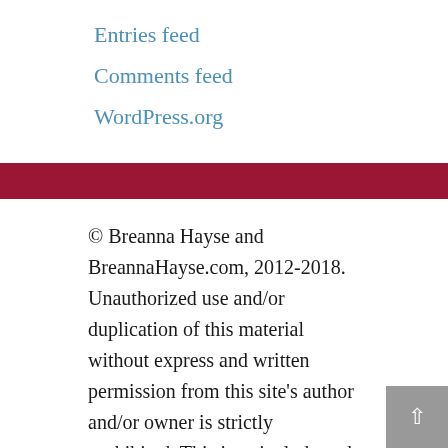Entries feed
Comments feed
WordPress.org
© Breanna Hayse and BreannaHayse.com, 2012-2018. Unauthorized use and/or duplication of this material without express and written permission from this site's author and/or owner is strictly prohibited. This is to include and not be limited to, any and all intellectual property- WIP descriptions, plot expressions, quotes, titles to such, articles, stories and cover art. Excerpts and links may be used, provided that full and clear credit is given to Breanna Hayse and BreannaHayse.com with appropriate and specific